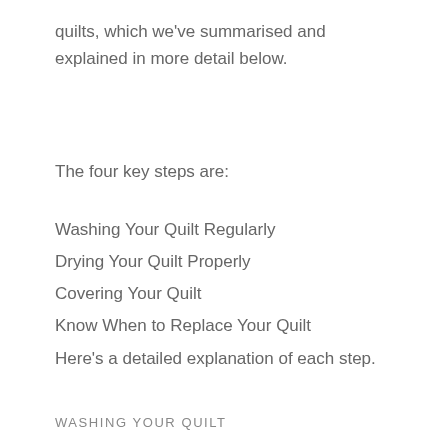quilts, which we've summarised and explained in more detail below.
The four key steps are:
Washing Your Quilt Regularly
Drying Your Quilt Properly
Covering Your Quilt
Know When to Replace Your Quilt
Here's a detailed explanation of each step.
WASHING YOUR QUILT